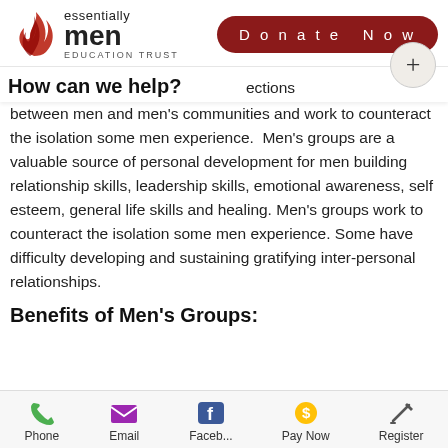essentially men EDUCATION TRUST | Donate Now
How can we help?
...ections between men and men's communities and work to counteract the isolation some men experience. Men's groups are a valuable source of personal development for men building relationship skills, leadership skills, emotional awareness, self esteem, general life skills and healing. Men's groups work to counteract the isolation some men experience. Some have difficulty developing and sustaining gratifying inter-personal relationships.
Benefits of Men's Groups:
Phone | Email | Faceb... | Pay Now | Register